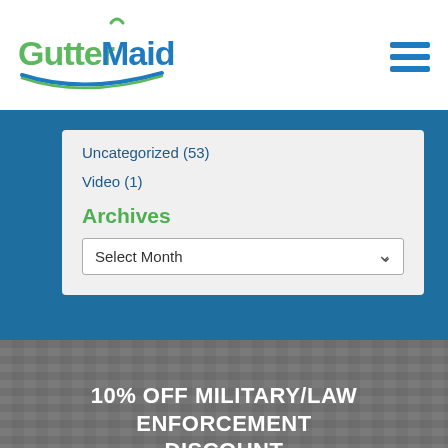[Figure (logo): GutterMaid logo with green and blue text and swish underline]
Uncategorized (53)
Video (1)
Archives
Select Month
10% OFF MILITARY/LAW ENFORCEMENT DISCOUNT
Please click here to verify your eligibility and receive your discount code.